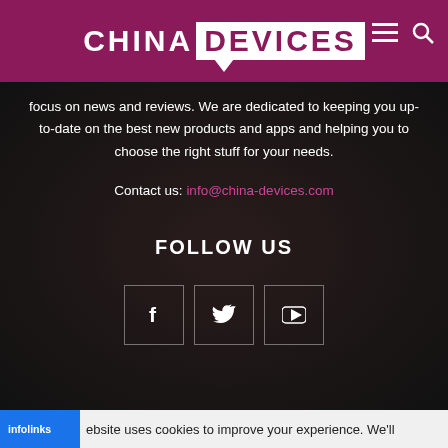CHINA DEVICES
focus on news and reviews. We are dedicated to keeping you up-to-date on the best new products and apps and helping you to choose the right stuff for your needs.
Contact us: info@china-devices.com
FOLLOW US
[Figure (infographic): Social media icons: Facebook, Twitter, YouTube buttons in outlined square boxes]
infolinks  ebsite uses cookies to improve your experience. We'll